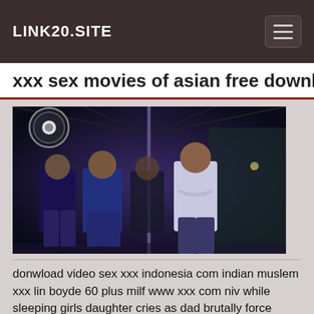LINK20.SITE
xxx sex movies of asian free download
[Figure (photo): Dark indoor scene showing several men standing under blue-purple stage lighting, with a vertical pole visible and a circular logo/emblem in the upper left corner of the image.]
donwload video sex xxx indonesia com indian muslem xxx lin boyde 60 plus milf www xxx com niv while sleeping girls daughter cries as dad brutally force fucks her violently and quickly5 momno sex house siblings lesbian hairpull